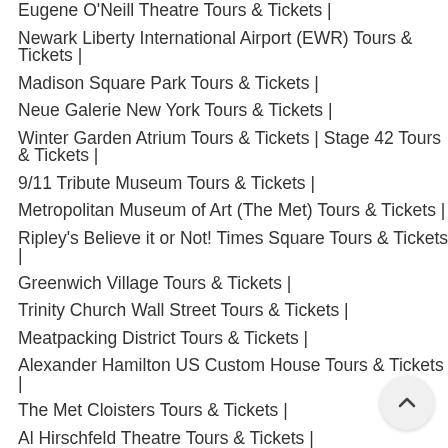Eugene O'Neill Theatre Tours & Tickets |
Newark Liberty International Airport (EWR) Tours & Tickets |
Madison Square Park Tours & Tickets |
Neue Galerie New York Tours & Tickets |
Winter Garden Atrium Tours & Tickets | Stage 42 Tours & Tickets |
9/11 Tribute Museum Tours & Tickets |
Metropolitan Museum of Art (The Met) Tours & Tickets |
Ripley's Believe it or Not! Times Square Tours & Tickets |
Greenwich Village Tours & Tickets |
Trinity Church Wall Street Tours & Tickets |
Meatpacking District Tours & Tickets |
Alexander Hamilton US Custom House Tours & Tickets |
The Met Cloisters Tours & Tickets |
Al Hirschfeld Theatre Tours & Tickets |
Strawberry Fields (John Lennon Memorial) Tours & Tickets |
Daily News Building Tours & Tickets |